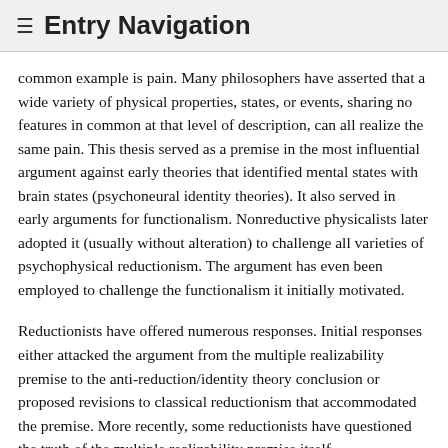≡ Entry Navigation
common example is pain. Many philosophers have asserted that a wide variety of physical properties, states, or events, sharing no features in common at that level of description, can all realize the same pain. This thesis served as a premise in the most influential argument against early theories that identified mental states with brain states (psychoneural identity theories). It also served in early arguments for functionalism. Nonreductive physicalists later adopted it (usually without alteration) to challenge all varieties of psychophysical reductionism. The argument has even been employed to challenge the functionalism it initially motivated.
Reductionists have offered numerous responses. Initial responses either attacked the argument from the multiple realizability premise to the anti-reduction/identity theory conclusion or proposed revisions to classical reductionism that accommodated the premise. More recently, some reductionists have questioned the truth of the multiple realizability premise itself.